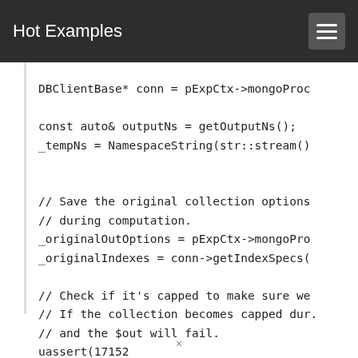Hot Examples
[Figure (screenshot): Code snippet showing C++ code with DBClientBase* conn = pExpCtx->mongoProc..., const auto& outputNs = getOutputNs();, _tempNs = NamespaceString(str::stream()..., // Save the original collection options, // during computation., _originalOutOptions = pExpCtx->mongoPro..., _originalIndexes = conn->getIndexSpecs(..., // Check if it's capped to make sure we..., // If the collection becomes capped dur..., // and the $out will fail., uassert(17152...]